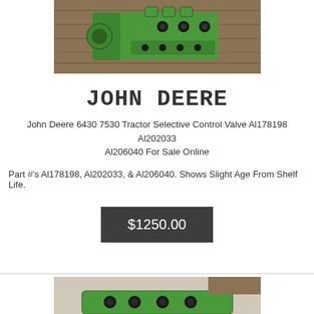[Figure (photo): Green John Deere tractor selective control valve photographed on wooden surface]
JOHN DEERE
John Deere 6430 7530 Tractor Selective Control Valve Al178198 Al202033 Al206040 For Sale Online
Part #'s Al178198, Al202033, & Al206040. Shows Slight Age From Shelf Life.
$1250.00
[Figure (photo): Green John Deere selective control valve part photographed from above on light background (partial view)]